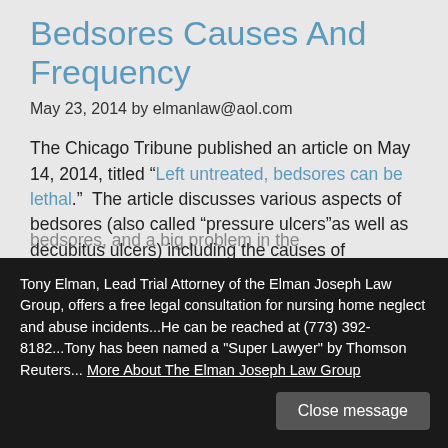Bedsores Causes And Frequency
May 23, 2014 by elmanlaw@aol.com
The Chicago Tribune published an article on May 14, 2014, titled “Left untreated, bedsores can be lethal.”  The article discusses various aspects of bedsores (also called “pressure ulcers”as well as decubitus ulcers) including the causes of bedsores, the frequency of bedsores, and tips for bedsore prevention.
Tony Elman, Lead Trial Attorney of the Elman Joseph Law Group, offers a free legal consultation for nursing home neglect and abuse incidents...He can be reached at (773) 392-8182...Tony has been named a "Super Lawyer" by Thomson Reuters... More About The Elman Joseph Law Group
Close message